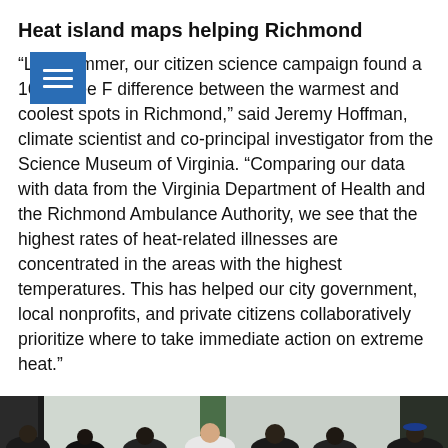Heat island maps helping Richmond
“Last summer, our citizen science campaign found a 16 degree F difference between the warmest and coolest spots in Richmond,” said Jeremy Hoffman, climate scientist and co-principal investigator from the Science Museum of Virginia. “Comparing our data with data from the Virginia Department of Health and the Richmond Ambulance Authority, we see that the highest rates of heat-related illnesses are concentrated in the areas with the highest temperatures. This has helped our city government, local nonprofits, and private citizens collaboratively prioritize where to take immediate action on extreme heat.”
[Figure (photo): Group photo of people smiling outdoors, some waving, in front of a building with a green column. Diverse group of young adults and adults.]